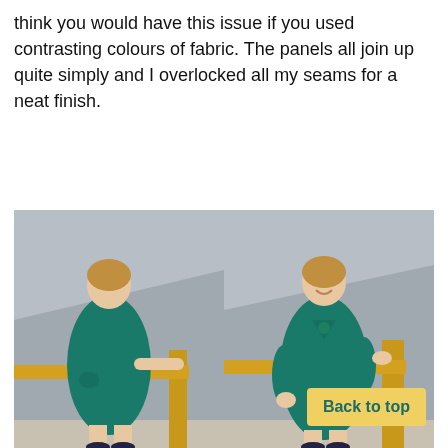think you would have this issue if you used contrasting colours of fabric. The panels all join up quite simply and I overlocked all my seams for a neat finish.
[Figure (photo): Two side-by-side photos of a woman wearing a teal wrap dress. Left photo shows her from behind/side holding a wooden stair banister. Right photo shows her from the front smiling, wearing a teal dress and green necklace, also holding the banister. A yellow 'Back to top' button is overlaid on the lower right of the right photo.]